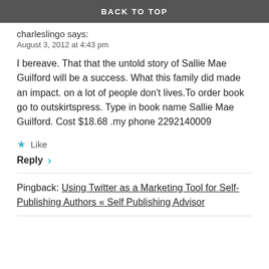BACK TO TOP
charleslingo says:
August 3, 2012 at 4:43 pm
I bereave. That that the untold story of Sallie Mae Guilford will be a success. What this family did made an impact. on a lot of people don't lives.To order book go to outskirtspress. Type in book name Sallie Mae Guilford. Cost $18.68 .my phone 2292140009
Like
Reply
Pingback: Using Twitter as a Marketing Tool for Self-Publishing Authors « Self Publishing Advisor